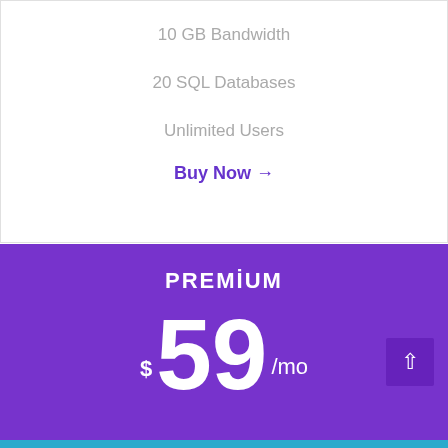10 GB Bandwidth
20 SQL Databases
Unlimited Users
Buy Now →
PREMIUM
$59/mo